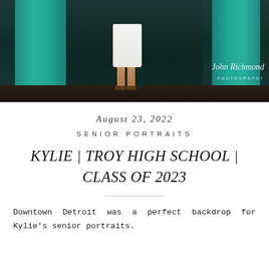[Figure (photo): Senior portrait photograph banner showing a young woman in a white dress standing between teal/turquoise painted pillars in an urban setting, with a watermark reading 'John Richmond Photography' in the lower right corner.]
August 23, 2022
SENIOR PORTRAITS
KYLIE | TROY HIGH SCHOOL | CLASS OF 2023
Downtown Detroit was a perfect backdrop for Kylie's senior portraits.